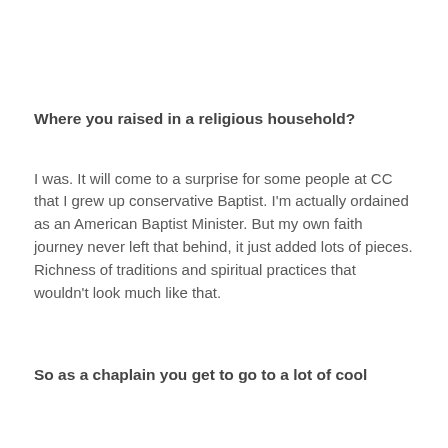Where you raised in a religious household?
I was. It will come to a surprise for some people at CC that I grew up conservative Baptist. I'm actually ordained as an American Baptist Minister. But my own faith journey never left that behind, it just added lots of pieces. Richness of traditions and spiritual practices that wouldn't look much like that.
So as a chaplain you get to go to a lot of cool